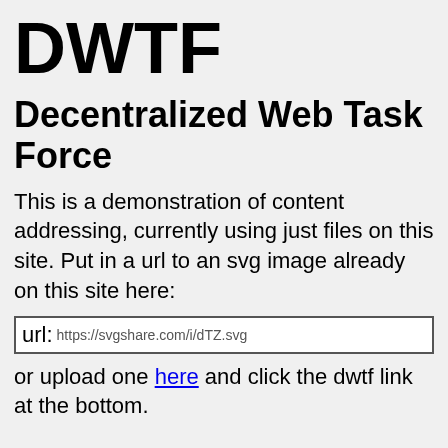DWTF
Decentralized Web Task Force
This is a demonstration of content addressing, currently using just files on this site. Put in a url to an svg image already on this site here:
url: https://svgshare.com/i/dTZ.svg
or upload one here and click the dwtf link at the bottom.